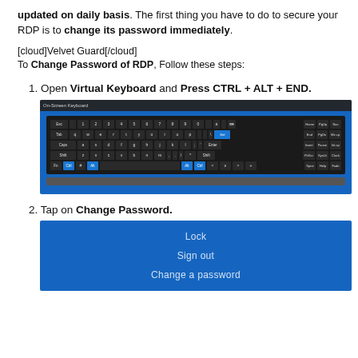updated on daily basis. The first thing you have to do to secure your RDP is to change its password immediately.
[cloud]Velvet Guard[/cloud]
To Change Password of RDP, Follow these steps:
1. Open Virtual Keyboard and Press CTRL + ALT + END.
[Figure (screenshot): Screenshot of Windows Virtual Keyboard application showing keyboard layout with Ctrl, Alt keys highlighted in blue and Del key highlighted in blue.]
2. Tap on Change Password.
[Figure (screenshot): Screenshot of Windows security options menu on blue background showing Lock, Sign out, and Change a password options.]